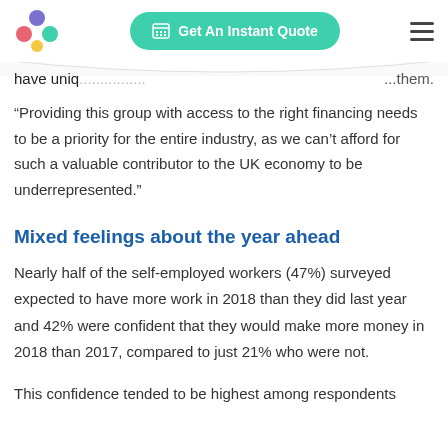Get An Instant Quote
have uniq... ...them.
“Providing this group with access to the right financing needs to be a priority for the entire industry, as we can’t afford for such a valuable contributor to the UK economy to be underrepresented.”
Mixed feelings about the year ahead
Nearly half of the self-employed workers (47%) surveyed expected to have more work in 2018 than they did last year and 42% were confident that they would make more money in 2018 than 2017, compared to just 21% who were not.
This confidence tended to be highest among respondents